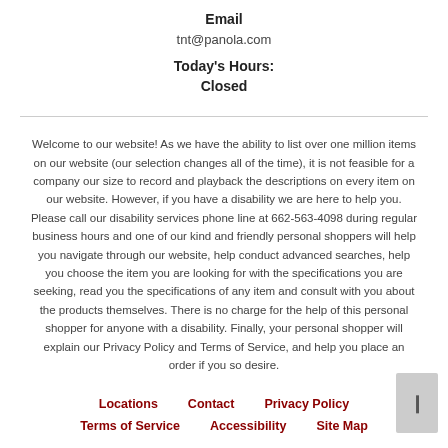Email
tnt@panola.com
Today's Hours:
Closed
Welcome to our website! As we have the ability to list over one million items on our website (our selection changes all of the time), it is not feasible for a company our size to record and playback the descriptions on every item on our website. However, if you have a disability we are here to help you. Please call our disability services phone line at 662-563-4098 during regular business hours and one of our kind and friendly personal shoppers will help you navigate through our website, help conduct advanced searches, help you choose the item you are looking for with the specifications you are seeking, read you the specifications of any item and consult with you about the products themselves. There is no charge for the help of this personal shopper for anyone with a disability. Finally, your personal shopper will explain our Privacy Policy and Terms of Service, and help you place an order if you so desire.
Locations
Contact
Privacy Policy
Terms of Service
Accessibility
Site Map